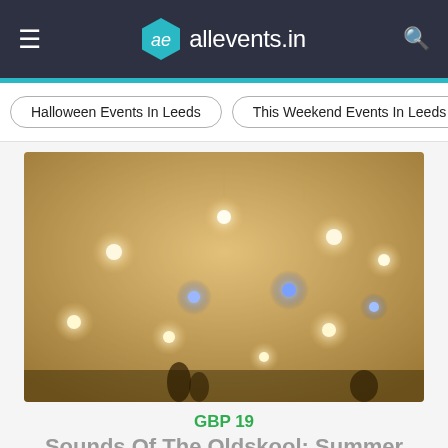ae allevents.in
Halloween Events In Leeds
This Weekend Events In Leeds
[Figure (photo): Concert stage with multiple bright warm lights and blue spotlights against a foggy/misty background, silhouette of crowd at the bottom]
GBP 19
Sounds Of The Oldskool: Summer Rave
☆ I'm Interested